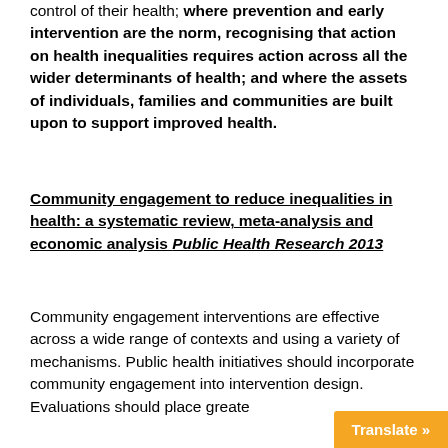control of their health; where prevention and early intervention are the norm, recognising that action on health inequalities requires action across all the wider determinants of health; and where the assets of individuals, families and communities are built upon to support improved health.
Community engagement to reduce inequalities in health: a systematic review, meta-analysis and economic analysis Public Health Research 2013
Community engagement interventions are effective across a wide range of contexts and using a variety of mechanisms. Public health initiatives should incorporate community engagement into intervention design. Evaluations should place greate...